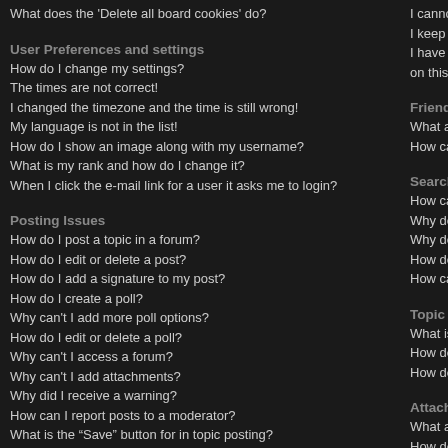What does the 'Delete all board cookies' do?
User Preferences and settings
How do I change my settings?
The times are not correct!
I changed the timezone and the time is still wrong!
My language is not in the list!
How do I show an image along with my username?
What is my rank and how do I change it?
When I click the e-mail link for a user it asks me to login?
Posting Issues
How do I post a topic in a forum?
How do I edit or delete a post?
How do I add a signature to my post?
How do I create a poll?
Why can't I add more poll options?
How do I edit or delete a poll?
Why can't I access a forum?
Why can't I add attachments?
Why did I receive a warning?
How can I report posts to a moderator?
What is the “Save” button for in topic posting?
Why does my post need to be approved?
How do I bump my topic?
Formatting and Topic Types
What is BBCode?
I cannot send private m
I keep getting unwante
I have received a spam on this board!
Friends and Foes
What are my Friends a
How can I add / remove
Searching the Forums
How can I search a for
Why does my search re
Why does my search re
How do I search for me
How can I find my own
Topic Subscriptions a
What is the difference b
How do I subscribe to s
How do I remove my su
Attachments
What attachments are a
How do I find all my att
phpBB 3 Issues
Who wrote this bulletin